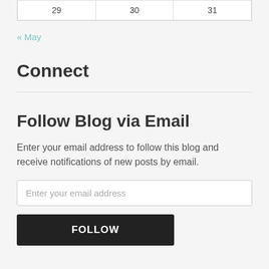| 29 | 30 | 31 |
« May
Connect
Follow Blog via Email
Enter your email address to follow this blog and receive notifications of new posts by email.
Enter your email address
FOLLOW